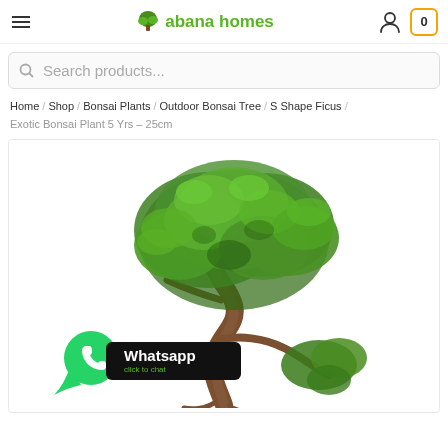abana homes — hamburger menu, user icon, cart (0)
Search products...
Home / Shop / Bonsai Plants / Outdoor Bonsai Tree / S Shape Ficus / Exotic Bonsai Plant 5 Yrs – 25cm
[Figure (photo): S Shape Ficus Exotic Bonsai Plant 5 Yrs – 25cm: a bonsai tree with an S-curved trunk and dense green foliage on a white background. A WhatsApp chat widget (green icon with 'Whatsapp – click to chat' label) is overlaid in the bottom-left corner.]